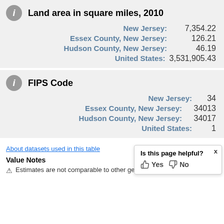Land area in square miles, 2010
| Geography | Value |
| --- | --- |
| New Jersey: | 7,354.22 |
| Essex County, New Jersey: | 126.21 |
| Hudson County, New Jersey: | 46.19 |
| United States: | 3,531,905.43 |
FIPS Code
| Geography | Value |
| --- | --- |
| New Jersey: | 34 |
| Essex County, New Jersey: | 34013 |
| Hudson County, New Jersey: | 34017 |
| United States: | 1 |
About datasets used in this table
Value Notes
Estimates are not comparable to other geograp